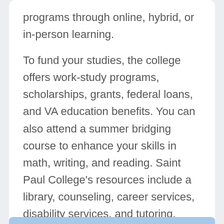programs through online, hybrid, or in-person learning.

To fund your studies, the college offers work-study programs, scholarships, grants, federal loans, and VA education benefits. You can also attend a summer bridging course to enhance your skills in math, writing, and reading. Saint Paul College's resources include a library, counseling, career services, disability services, and tutoring.